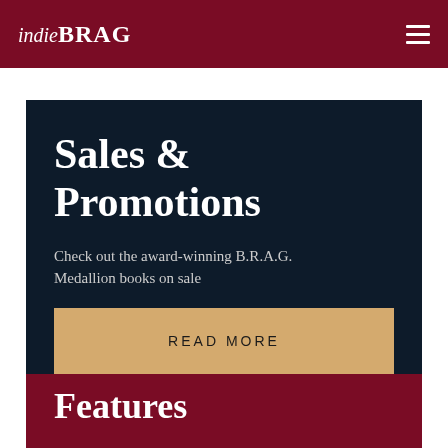indieBRAG
Sales & Promotions
Check out the award-winning B.R.A.G. Medallion books on sale
READ MORE
Features